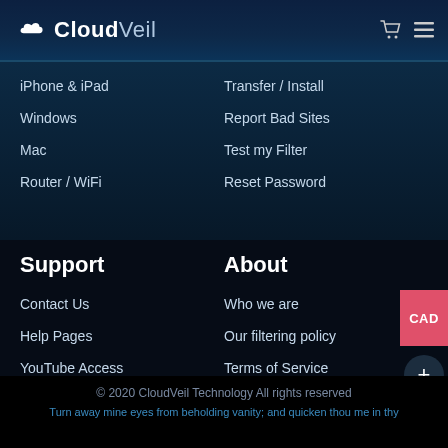CloudVeil
iPhone & iPad
Transfer / Install
Windows
Report Bad Sites
Mac
Test my Filter
Router / WiFi
Reset Password
Support
About
Contact Us
Who we are
Help Pages
Our filtering policy
YouTube Access
Terms of Service
CloudVeil Messenger
Privacy Policy
Remote Support
Gospel Literature
© 2020 CloudVeil Technology All rights reserved
Turn away mine eyes from beholding vanity; and quicken thou me in thy